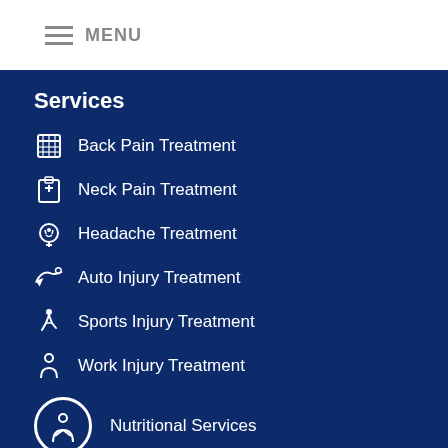MENU
Services
Back Pain Treatment
Neck Pain Treatment
Headache Treatment
Auto Injury Treatment
Sports Injury Treatment
Work Injury Treatment
Nutritional Services